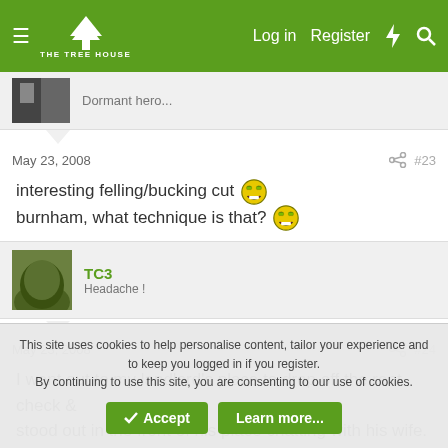THE TREE HOUSE — Log in  Register
Dormant hero...
May 23, 2008  #23
interesting felling/bucking cut :D
burnham, what technique is that? :D
TC3
Headache !
May 23, 2008  #24
I went out to my landlord's place to drop off the rent check & stood out in the front of his place chatting with his wife. We
This site uses cookies to help personalise content, tailor your experience and to keep you logged in if you register.
By continuing to use this site, you are consenting to our use of cookies.
Accept  Learn more...